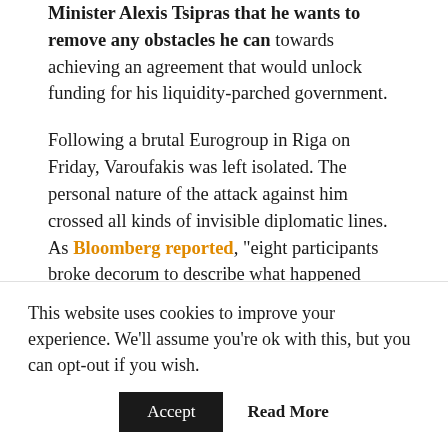Minister Alexis Tsipras that he wants to remove any obstacles he can towards achieving an agreement that would unlock funding for his liquidity-parched government.

Following a brutal Eurogroup in Riga on Friday, Varoufakis was left isolated. The personal nature of the attack against him crossed all kinds of invisible diplomatic lines. As Bloomberg reported, "eight participants broke decorum to describe what happened behind closed doors" after the meeting. One unnamed official said that the Greek minister had been branded "a time-waster, a gambler and an amateur" by his colleagues during the meeting. It's little wonder
This website uses cookies to improve your experience. We'll assume you're ok with this, but you can opt-out if you wish.
Accept   Read More